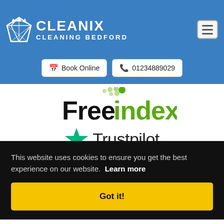[Figure (logo): Cleanix Cleaning Bedford logo - blue header with diamond icon and white text]
Book Online
01234889029
[Figure (logo): FreeIndex logo with green dots and bold text]
[Figure (logo): Trustpilot logo with green star and FIVE STAR REVIEWS rating boxes]
This website uses cookies to ensure you get the best experience on our website. Learn more
Got it!
Reviews ★★★★★